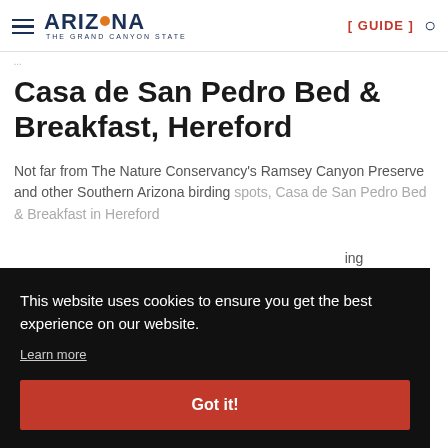ARIZONA THE GRAND CANYON STATE [ GUIDE ]
...
Casa de San Pedro Bed & Breakfast, Hereford
Not far from The Nature Conservancy's Ramsey Canyon Preserve and other Southern Arizona birding spots, Casa de San Pedro Bed & Breakfast in Hereford ... ing
This website uses cookies to ensure you get the best experience on our website.
Learn more
Got it!
... r ... natural habitat ...